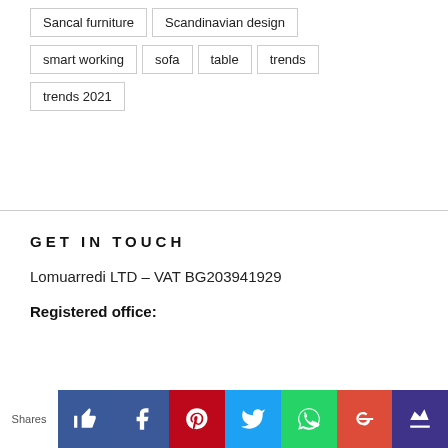Sancal furniture
Scandinavian design
smart working
sofa
table
trends
trends 2021
GET IN TOUCH
Lomuarredi LTD – VAT BG203941929
Registered office:
Shares [social icons: like, facebook, pinterest, twitter, whatsapp, google+, crown]